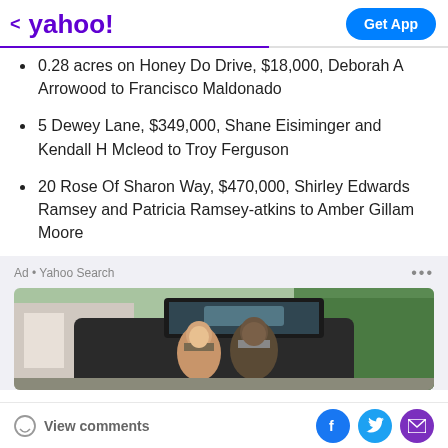< yahoo!   Get App
0.28 acres on Honey Do Drive, $18,000, Deborah A Arrowood to Francisco Maldonado
5 Dewey Lane, $349,000, Shane Eisiminger and Kendall H Mcleod to Troy Ferguson
20 Rose Of Sharon Way, $470,000, Shirley Edwards Ramsey and Patricia Ramsey-atkins to Amber Gillam Moore
[Figure (photo): Ad from Yahoo Search showing two people smiling near the open trunk of an SUV outdoors]
View comments